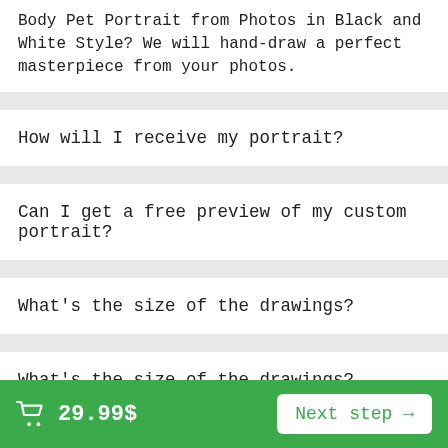Body Pet Portrait from Photos in Black and White Style? We will hand-draw a perfect masterpiece from your photos.
How will I receive my portrait?
Can I get a free preview of my custom portrait?
What's the size of the drawings?
What's the size of the drawings?
How to order my custom caricature or portrait?
29.99$ Next step →